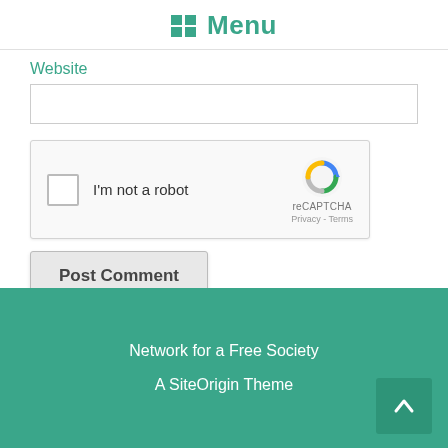Menu
Website
[Figure (screenshot): reCAPTCHA widget with checkbox labeled I'm not a robot, reCAPTCHA logo, Privacy and Terms links]
Post Comment
Network for a Free Society
A SiteOrigin Theme